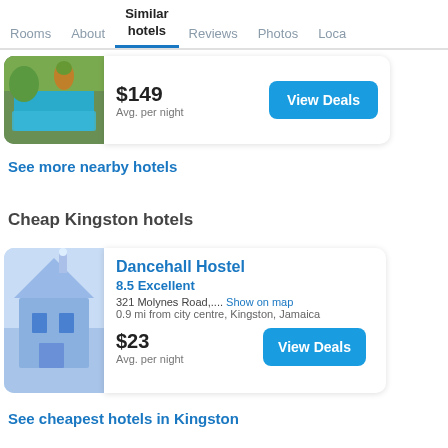Rooms  About  Similar hotels  Reviews  Photos  Loca...
[Figure (photo): Hotel pool with tropical plants, partially cropped card]
$149
Avg. per night
View Deals
See more nearby hotels
Cheap Kingston hotels
[Figure (illustration): Dancehall Hostel illustrated building graphic on blue background]
Dancehall Hostel
8.5 Excellent
321 Molynes Road,...  Show on map
0.9 mi from city centre, Kingston, Jamaica
$23
Avg. per night
View Deals
[Figure (photo): Interior photo showing Jamaican flag, partially cropped]
See cheapest hotels in Kingston